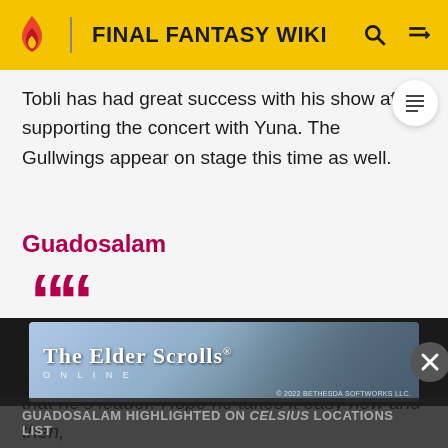FINAL FANTASY WIKI
Tobli has had great success with his show after supporting the concert with Yuna. The Gullwings appear on stage this time as well.
Guadosalam
Tromell's pretty busy holding Guadosalam together now that he's leader. Hope he takes it easy now and then, too.
[Figure (other): The Elder Scrolls Online advertisement banner with © 2022 BETHESDA SOFTWORKS LLC.]
GUADOSALAM HIGHLIGHTED ON CELSIUS LOCATIONS LIST